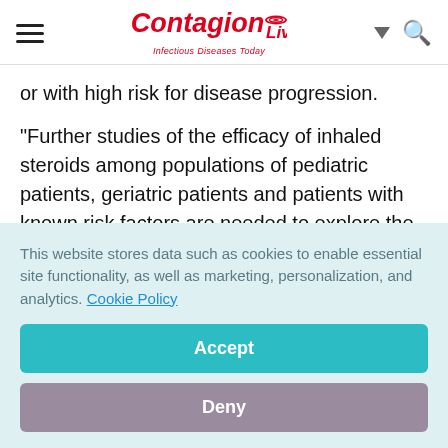ContagionLive — Infectious Diseases Today
or with high risk for disease progression.
"Further studies of the efficacy of inhaled steroids among populations of pediatric patients, geriatric patients and patients with known risk factors are needed to explore the efficacy of inhaled steroids among patients at
This website stores data such as cookies to enable essential site functionality, as well as marketing, personalization, and analytics. Cookie Policy
Accept
Deny